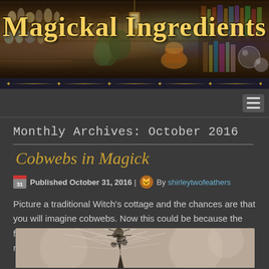Magickal Ingredients
Monthly Archives: October 2016
Cobwebs in Magick
Published October 31, 2016 | By shirleytwofeathers
Picture a traditional Witch's cottage and the chances are that you will imagine cobwebs. Now this could be because the folklore image of the Witch is as a poor old woman, possibly no longer able to clean her home.
[Figure (photo): Black and white photo of a cobweb with dark spiky plant or thistle in foreground, blurred background]